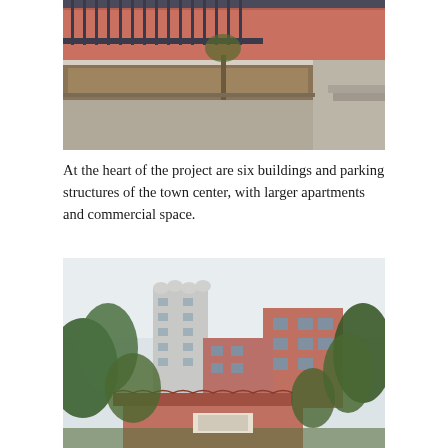[Figure (photo): Outdoor courtyard area with metal railing fence, bare ground with dry leaves, a young tree, concrete path, and brick buildings in background]
At the heart of the project are six buildings and parking structures of the town center, with larger apartments and commercial space.
[Figure (photo): Urban residential complex with multi-story apartment buildings of varying heights and styles, surrounded by lush green trees with a light sky background]